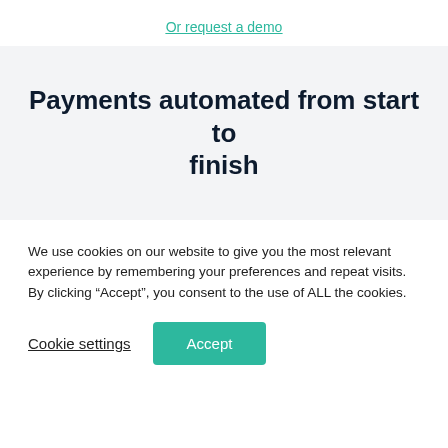Or request a demo
Payments automated from start to finish
We use cookies on our website to give you the most relevant experience by remembering your preferences and repeat visits. By clicking “Accept”, you consent to the use of ALL the cookies.
Cookie settings
Accept